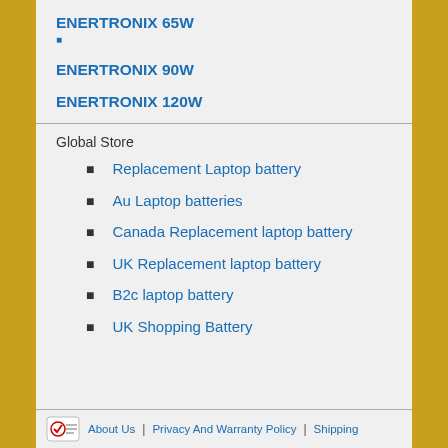ENERTRONIX 65W
ENERTRONIX 90W
ENERTRONIX 120W
Global Store
Replacement Laptop battery
Au Laptop batteries
Canada Replacement laptop battery
UK Replacement laptop battery
B2c laptop battery
UK Shopping Battery
About Us | Privacy And Warranty Policy | Shipping